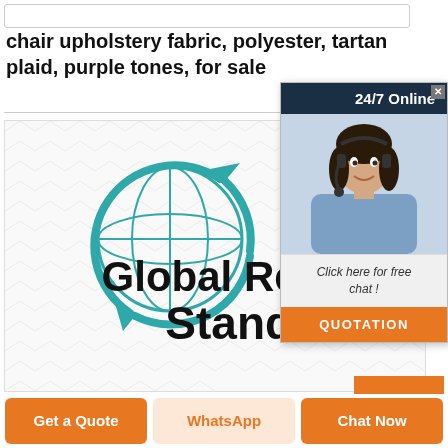chair upholstery fabric, polyester, tartan plaid, purple tones, for sale
[Figure (logo): Global Recycled Standard logo with teal globe and recycling arrows, text 'Global Recycled Standard' in black bold on white background with light grey fabric texture pattern]
[Figure (infographic): Popup overlay showing a woman with headset (customer service representative), header '24/7 Online', text 'Click here for free chat!', and orange 'QUOTATION' button]
Click here for free chat !
QUOTATION
Get a Quote
WhatsApp
Chat Now